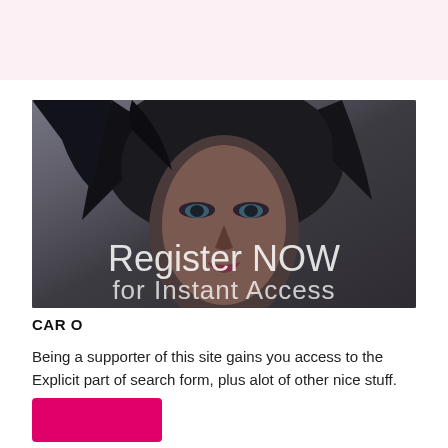[Figure (photo): Dark-haired woman looking at camera with overlay text 'Register NOW for Instant Access']
CARO
Being a supporter of this site gains you access to the Explicit part of search form, plus alot of other nice stuff.